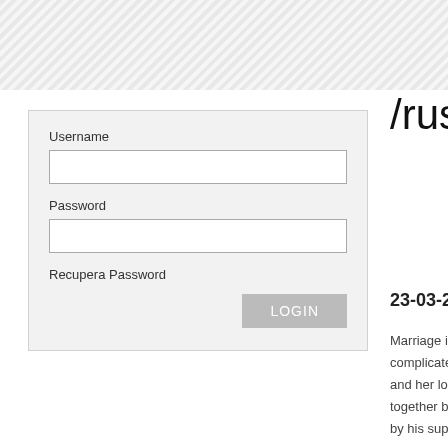[Figure (screenshot): Hatched diagonal stripe header banner at the top of the page]
[Figure (screenshot): Login form with Username field, Password field, Recupera Password link, and LOGIN button]
/russiansbric
23-03-2019/Simple Rus
Marriage is likely one of the most complicated. For a purpose you co and her lover are watching your ev together behind your again. Too ty by his super miserable account of
First dates are great no matter wh here russiansbrides are some few after Béla Kovács and his wife ret